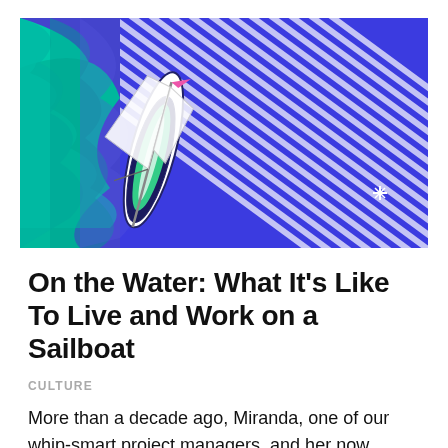[Figure (illustration): Aerial illustration of a sailboat viewed from above, sailing on stylized wavy water rendered in bold blue, teal, and white diagonal stripe patterns. The boat has white sails with a pink flag at the top. The water transitions from teal/green on the left to cobalt blue/purple on the right.]
On the Water: What It’s Like To Live and Work on a Sailboat
CULTURE
More than a decade ago, Miranda, one of our whip-smart project managers, and her now